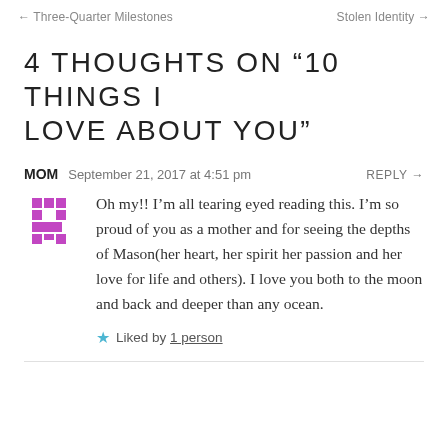← Three-Quarter Milestones    Stolen Identity →
4 THOUGHTS ON “10 THINGS I LOVE ABOUT YOU”
MOM   September 21, 2017 at 4:51 pm    REPLY →
Oh my!! I’m all tearing eyed reading this. I’m so proud of you as a mother and for seeing the depths of Mason(her heart, her spirit her passion and her love for life and others). I love you both to the moon and back and deeper than any ocean.
★ Liked by 1 person